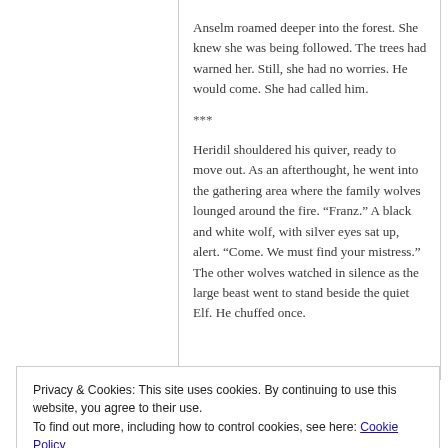Anselm roamed deeper into the forest. She knew she was being followed. The trees had warned her. Still, she had no worries. He would come. She had called him.
***
Heridil shouldered his quiver, ready to move out. As an afterthought, he went into the gathering area where the family wolves lounged around the fire. “Franz.” A black and white wolf, with silver eyes sat up, alert. “Come. We must find your mistress.” The other wolves watched in silence as the large beast went to stand beside the quiet Elf. He chuffed once.
Privacy & Cookies: This site uses cookies. By continuing to use this website, you agree to their use.
To find out more, including how to control cookies, see here: Cookie Policy
Close and accept
woods.